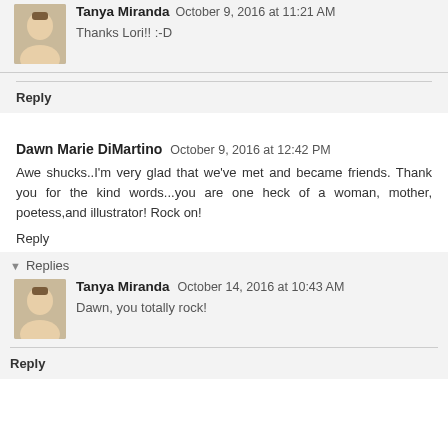Tanya Miranda   October 9, 2016 at 11:21 AM
Thanks Lori!! :-D
Reply
Dawn Marie DiMartino   October 9, 2016 at 12:42 PM
Awe shucks..I'm very glad that we've met and became friends. Thank you for the kind words...you are one heck of a woman, mother, poetess,and illustrator! Rock on!
Reply
Replies
Tanya Miranda   October 14, 2016 at 10:43 AM
Dawn, you totally rock!
Reply